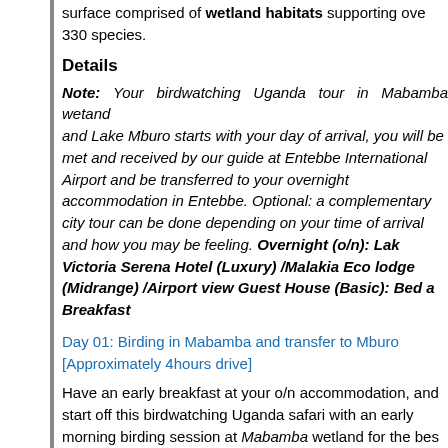surface comprised of wetland habitats supporting over 330 species.
Details
Note: Your birdwatching Uganda tour in Mabamba wetand and Lake Mburo starts with your day of arrival, you will be met and received by our guide at Entebbe International Airport and be transferred to your overnight accommodation in Entebbe. Optional: a complementary city tour can be done depending on your time of arrival and how you may be feeling. Overnight (o/n): Lake Victoria Serena Hotel (Luxury) /Malakia Eco lodge (Midrange) /Airport view Guest House (Basic): Bed and Breakfast
Day 01: Birding in Mabamba and transfer to Mburo [Approximately 4hours drive]
Have an early breakfast at your o/n accommodation, and start off this birdwatching Uganda safari with an early morning birding session at Mabamba wetland for the best opportunities to spot the Shoebill Stork hunting in the Marsh. You will spot other species such as; African Jacana, Pied Kingfisher, Purple Heron, Pallid Harrier, Papyrus Gonolek and many more. Bird watching here is